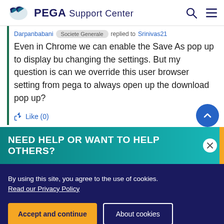PEGA Support Center
Darpanbabani · Societe Generale · replied to Srinivas21
Even in Chrome we can enable the Save As pop up to display bu changing the settings. But my question is can we override this user browser setting from pega to always open up the download pop up?
Like (0)
NEED HELP OR WANT TO HELP OTHERS?
By using this site, you agree to the use of cookies. Read our Privacy Policy
Accept and continue  About cookies